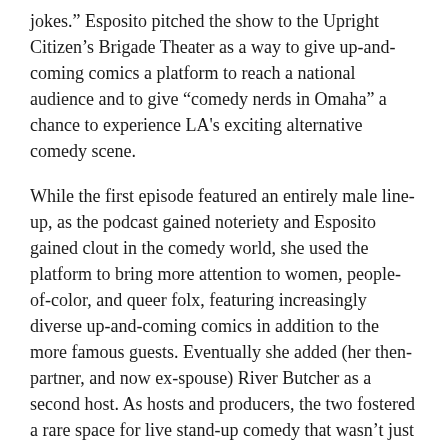jokes.” Esposito pitched the show to the Upright Citizen’s Brigade Theater as a way to give up-and-coming comics a platform to reach a national audience and to give “comedy nerds in Omaha” a chance to experience LA’s exciting alternative comedy scene.
While the first episode featured an entirely male line-up, as the podcast gained noteriety and Esposito gained clout in the comedy world, she used the platform to bring more attention to women, people-of-color, and queer folx, featuring increasingly diverse up-and-coming comics in addition to the more famous guests. Eventually she added (her then-partner, and now ex-spouse) River Butcher as a second host. As hosts and producers, the two fostered a rare space for live stand-up comedy that wasn’t just tolerant of marginalized voices, but created as an explicit arena in which they could find work. You can hear Butcher and Esposito addressing this legacy in the show’s final two episodes.